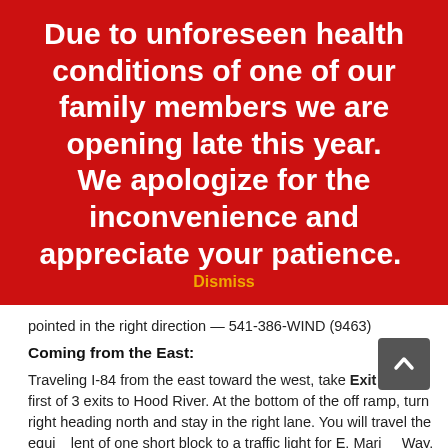Due to unforeseen health conditions of one of our family members we are opening late this year. We apologize for the inconvenience and appreciate your patience. Dismiss
pointed in the right direction — 541-386-WIND (9463)
Coming from the East:
Traveling I-84 from the east toward the west, take Exit 64 the first of 3 exits to Hood River. At the bottom of the off ramp, turn right heading north and stay in the right lane. You will travel the equivalent of one short block to a traffic light for E. Marina Way. Turn right on E. Marina Way heading east: You will